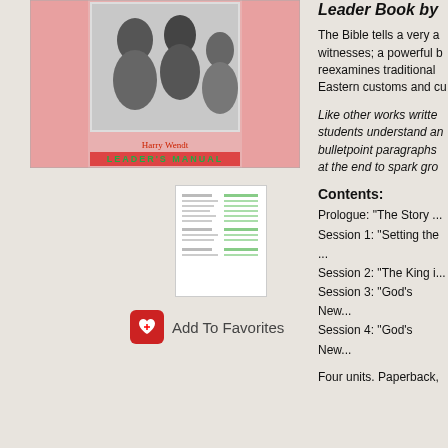[Figure (illustration): Book cover image for a Leader's Manual by Harry Wendt, showing a black and white illustration of figures and a pink/red background with 'LEADER'S MANUAL' text in green]
[Figure (screenshot): Small thumbnail image of interior pages of the Leader's Manual]
Add To Favorites
Leader Book by
The Bible tells a very a witnesses; a powerful b reexamines traditional Eastern customs and cu
Like other works writte students understand an bulletpoint paragraphs at the end to spark gro
Contents:
Prologue: "The Story ..."
Session 1: "Setting the ..."
Session 2: "The King i..."
Session 3: "God's New..."
Session 4: "God's New..."
Four units. Paperback,